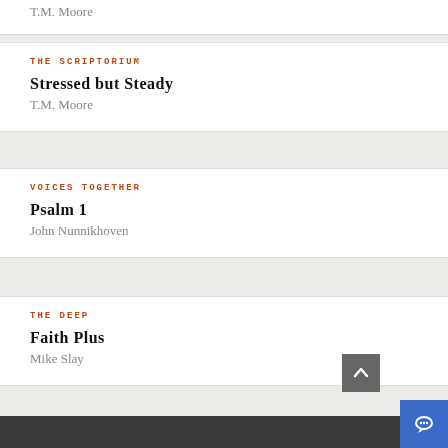T.M. Moore
THE SCRIPTORIUM
Stressed but Steady
T.M. Moore
VOICES TOGETHER
Psalm 1
John Nunnikhoven
THE DEEP
Faith Plus
Mike Slay